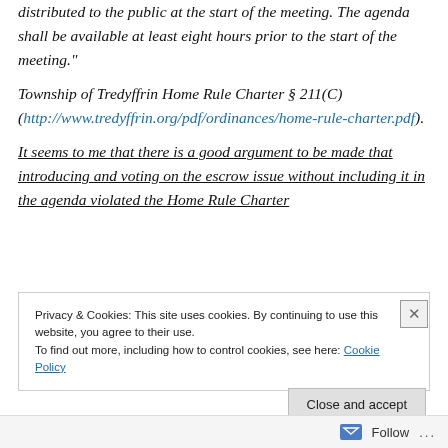a copy of financial and other activity reports, shall be distributed to the public at the start of the meeting. The agenda shall be available at least eight hours prior to the start of the meeting."
Township of Tredyffrin Home Rule Charter § 211(C) (http://www.tredyffrin.org/pdf/ordinances/home-rule-charter.pdf).
It seems to me that there is a good argument to be made that introducing and voting on the escrow issue without including it in the agenda violated the Home Rule Charter
Privacy & Cookies: This site uses cookies. By continuing to use this website, you agree to their use.
To find out more, including how to control cookies, see here: Cookie Policy
Close and accept
Follow ...